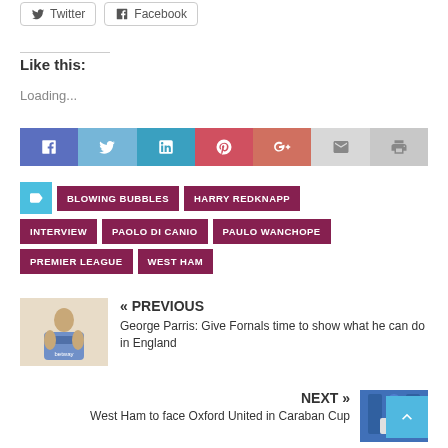Twitter  Facebook
Like this:
Loading...
[Figure (infographic): Social share icon bar with Facebook, Twitter, LinkedIn, Pinterest, Google+, Email, and Print buttons]
BLOWING BUBBLES  HARRY REDKNAPP  INTERVIEW  PAOLO DI CANIO  PAULO WANCHOPE  PREMIER LEAGUE  WEST HAM
« PREVIOUS
George Parris: Give Fornals time to show what he can do in England
NEXT »
West Ham to face Oxford United in Caraban Cup